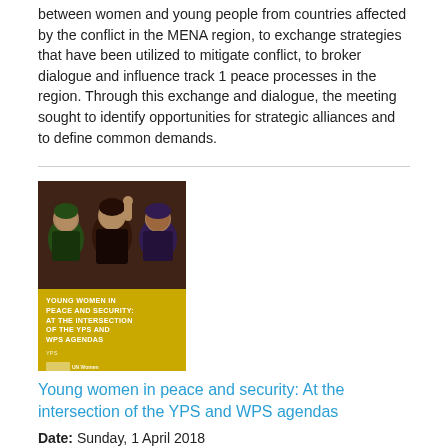between women and young people from countries affected by the conflict in the MENA region, to exchange strategies that have been utilized to mitigate conflict, to broker dialogue and influence track 1 peace processes in the region. Through this exchange and dialogue, the meeting sought to identify opportunities for strategic alliances and to define common demands.
[Figure (illustration): Book/report cover showing young women in colorful headscarves with text 'Young Women in Peace and Security: At the Intersection of the YPS and WPS Agendas' on a yellow background, with UN Women logo.]
Young women in peace and security: At the intersection of the YPS and WPS agendas
Date: Sunday, 1 April 2018
Around the world, young women are working to prevent violent conflict, recover from crises, and build peaceful, tolerant communities, yet most peace and security interventions are blind to the needs and contributions of young women. This paper examines the diverse roles that young women play in these contexts and offers recommendations for ensuring their meaningful inclusion